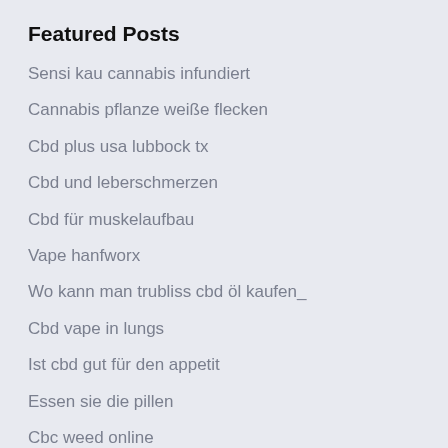Featured Posts
Sensi kau cannabis infundiert
Cannabis pflanze weiße flecken
Cbd plus usa lubbock tx
Cbd und leberschmerzen
Cbd für muskelaufbau
Vape hanfworx
Wo kann man trubliss cbd öl kaufen_
Cbd vape in lungs
Ist cbd gut für den appetit
Essen sie die pillen
Cbc weed online